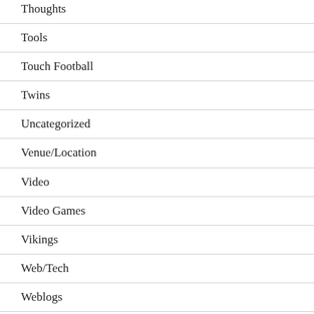Thoughts
Tools
Touch Football
Twins
Uncategorized
Venue/Location
Video
Video Games
Vikings
Web/Tech
Weblogs
Wild